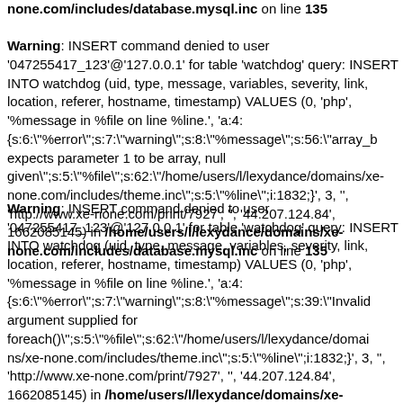none.com/includes/database.mysql.inc on line 135

Warning: INSERT command denied to user '047255417_123'@'127.0.0.1' for table 'watchdog' query: INSERT INTO watchdog (uid, type, message, variables, severity, link, location, referer, hostname, timestamp) VALUES (0, 'php', '%message in %file on line %line.', 'a:4:{s:6:"%error";s:7:"warning";s:8:"%message";s:56:"array_b expects parameter 1 to be array, null given";s:5:"%file";s:62:"/home/users/l/lexydance/domains/xe-none.com/includes/theme.inc";s:5:"%line";i:1832;}', 3, '', 'http://www.xe-none.com/print/7927', '', '44.207.124.84', 1662085145) in /home/users/l/lexydance/domains/xe-none.com/includes/database.mysql.inc on line 135
Warning: INSERT command denied to user '047255417_123'@'127.0.0.1' for table 'watchdog' query: INSERT INTO watchdog (uid, type, message, variables, severity, link, location, referer, hostname, timestamp) VALUES (0, 'php', '%message in %file on line %line.', 'a:4:{s:6:"%error";s:7:"warning";s:8:"%message";s:39:"Invalid argument supplied for foreach()";s:5:"%file";s:62:"/home/users/l/lexydance/domains/xe-none.com/includes/theme.inc";s:5:"%line";i:1832;}', 3, '', 'http://www.xe-none.com/print/7927', '', '44.207.124.84', 1662085145) in /home/users/l/lexydance/domains/xe-none.com...